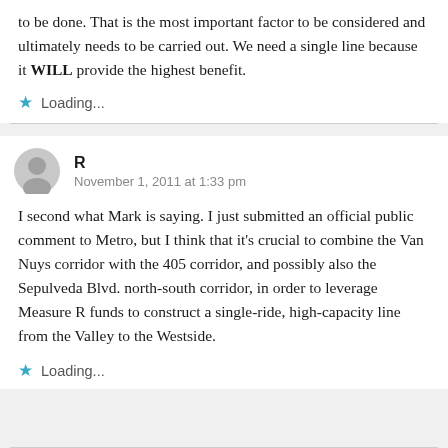to be done. That is the most important factor to be considered and ultimately needs to be carried out. We need a single line because it WILL provide the highest benefit.
Loading...
R
November 1, 2011 at 1:33 pm
I second what Mark is saying. I just submitted an official public comment to Metro, but I think that it's crucial to combine the Van Nuys corridor with the 405 corridor, and possibly also the Sepulveda Blvd. north-south corridor, in order to leverage Measure R funds to construct a single-ride, high-capacity line from the Valley to the Westside.
Loading...